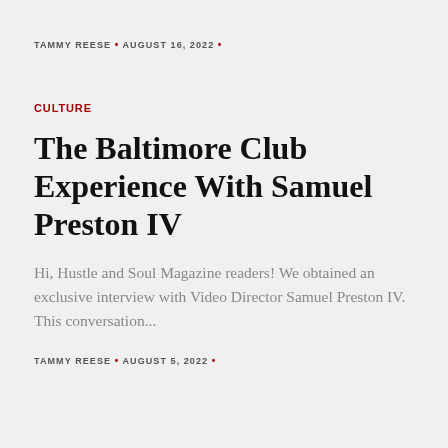TAMMY REESE • AUGUST 16, 2022 •
CULTURE
The Baltimore Club Experience With Samuel Preston IV
Hi, Hustle and Soul Magazine readers! We obtained an exclusive interview with Video Director Samuel Preston IV. This conversation...
TAMMY REESE • AUGUST 5, 2022 •